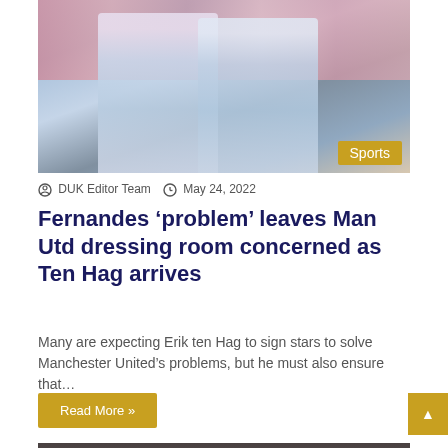[Figure (photo): Two Manchester United players in light blue kit standing dejected on a football pitch with crowd in background. A 'Sports' badge in golden yellow appears bottom right.]
DUK Editor Team   May 24, 2022
Fernandes ‘problem’ leaves Man Utd dressing room concerned as Ten Hag arrives
Many are expecting Erik ten Hag to sign stars to solve Manchester United’s problems, but he must also ensure that…
Read More »
[Figure (photo): Partial view of a football manager/coach on the touchline, bottom portion of page.]